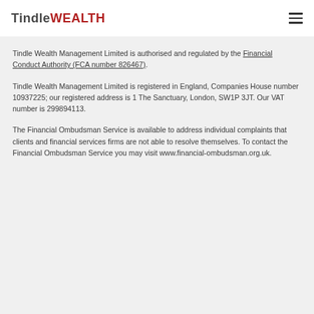TindleWEALTH
Tindle Wealth Management Limited is authorised and regulated by the Financial Conduct Authority (FCA number 826467).
Tindle Wealth Management Limited is registered in England, Companies House number 10937225; our registered address is 1 The Sanctuary, London, SW1P 3JT. Our VAT number is 299894113.
The Financial Ombudsman Service is available to address individual complaints that clients and financial services firms are not able to resolve themselves. To contact the Financial Ombudsman Service you may visit www.financial-ombudsman.org.uk.